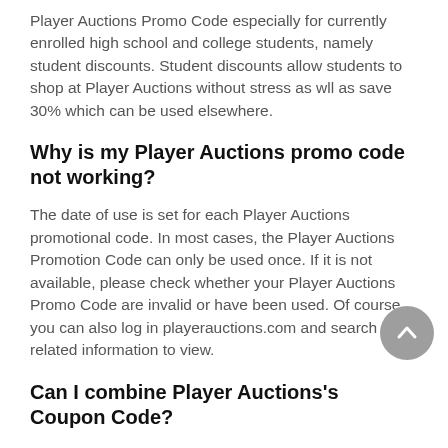Player Auctions Promo Code especially for currently enrolled high school and college students, namely student discounts. Student discounts allow students to shop at Player Auctions without stress as wll as save 30% which can be used elsewhere.
Why is my Player Auctions promo code not working?
The date of use is set for each Player Auctions promotional code. In most cases, the Player Auctions Promotion Code can only be used once. If it is not available, please check whether your Player Auctions Promo Code are invalid or have been used. Of course, you can also log in playerauctions.com and search for related information to view.
Can I combine Player Auctions's Coupon Code?